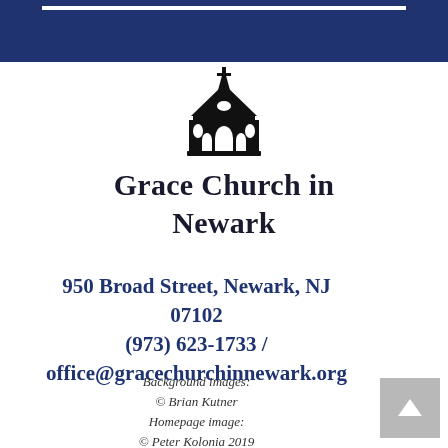[Figure (illustration): Dark navy blue header banner at the top of the page with a white horizontal bar element near the top edge]
[Figure (logo): Black silhouette illustration of a Gothic church steeple/facade with arched doorway and spire]
Grace Church in Newark
950 Broad Street, Newark, NJ 07102
(973) 623-1733 / office@gracechurchinnewark.org
Background images:
© Brian Kutner
Homepage image:
© Peter Kolonia 2019